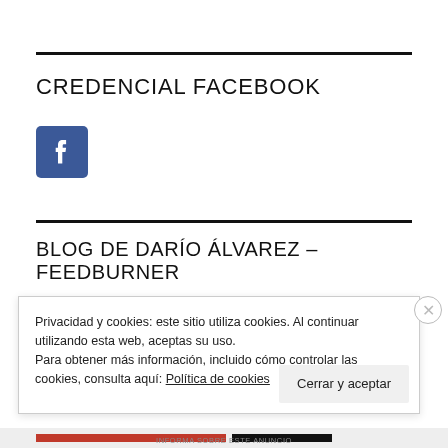CREDENCIAL FACEBOOK
[Figure (logo): Facebook logo icon — white lowercase 'f' on blue square background]
BLOG DE DARÍO ÁLVAREZ – FEEDBURNER
Privacidad y cookies: este sitio utiliza cookies. Al continuar utilizando esta web, aceptas su uso.
Para obtener más información, incluido cómo controlar las cookies, consulta aquí: Política de cookies
Cerrar y aceptar
INFORMA SOBRE ESTE ANUNCIO